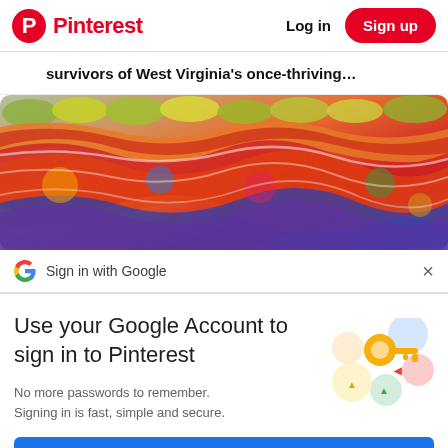Pinterest  Log in  Sign up
survivors of West Virginia's once-thriving…
[Figure (photo): Colorful stacked glass bowls or jello desserts in many colors including red, orange, yellow, green, blue, and purple arranged in rows.]
Sign in with Google
Use your Google Account to sign in to Pinterest
No more passwords to remember. Signing in is fast, simple and secure.
[Figure (illustration): Google key illustration with colorful circles and a golden key]
Continue